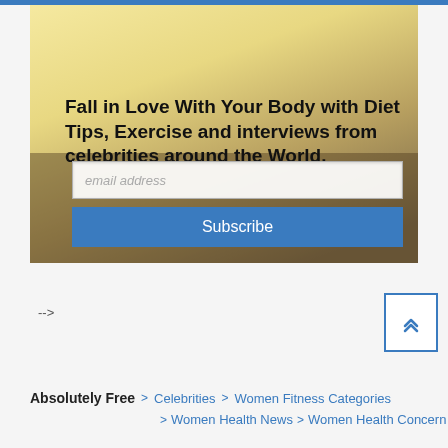[Figure (photo): Hero banner image with a warm golden-yellow outdoor background (road/landscape), featuring bold text overlay about diet tips, exercise and celebrity interviews, with email subscription input and Subscribe button]
Fall in Love With Your Body with Diet Tips, Exercise and interviews from celebrities around the World.
email address
Subscribe
-->
Absolutely Free  > Celebrities  > Women Fitness Categories  > Women Health News  > Women Health Concern